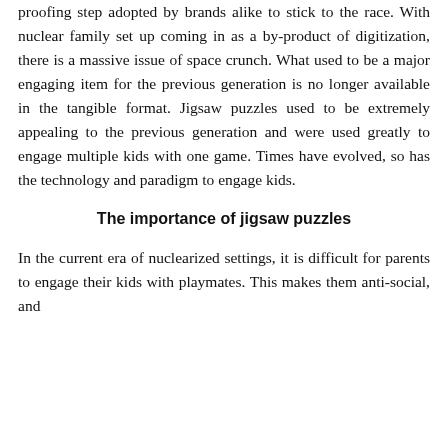proofing step adopted by brands alike to stick to the race. With nuclear family set up coming in as a by-product of digitization, there is a massive issue of space crunch. What used to be a major engaging item for the previous generation is no longer available in the tangible format. Jigsaw puzzles used to be extremely appealing to the previous generation and were used greatly to engage multiple kids with one game. Times have evolved, so has the technology and paradigm to engage kids.
The importance of jigsaw puzzles
In the current era of nuclearized settings, it is difficult for parents to engage their kids with playmates. This makes them anti-social, and